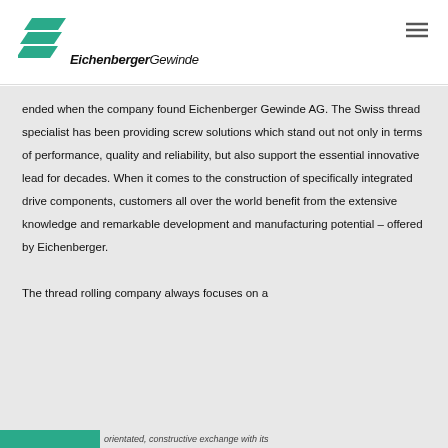[Figure (logo): Eichenberger Gewinde logo with teal geometric stacked parallelogram shapes above the company name text]
ended when the company found Eichenberger Gewinde AG. The Swiss thread specialist has been providing screw solutions which stand out not only in terms of performance, quality and reliability, but also support the essential innovative lead for decades. When it comes to the construction of specifically integrated drive components, customers all over the world benefit from the extensive knowledge and remarkable development and manufacturing potential – offered by Eichenberger.
The thread rolling company always focuses on a
orientated, constructive exchange with its